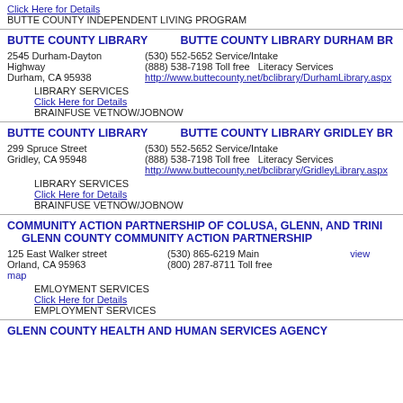Click Here for Details
BUTTE COUNTY INDEPENDENT LIVING PROGRAM
BUTTE COUNTY LIBRARY    BUTTE COUNTY LIBRARY DURHAM BR
2545 Durham-Dayton Highway, Durham, CA 95938 | (530) 552-5652 Service/Intake | (888) 538-7198 Toll free   Literacy Services | http://www.buttecounty.net/bclibrary/DurhamLibrary.aspx
LIBRARY SERVICES
Click Here for Details
BRAINFUSE VETNOW/JOBNOW
BUTTE COUNTY LIBRARY    BUTTE COUNTY LIBRARY GRIDLEY BR
299 Spruce Street, Gridley, CA 95948 | (530) 552-5652 Service/Intake | (888) 538-7198 Toll free   Literacy Services | http://www.buttecounty.net/bclibrary/GridleyLibrary.aspx
LIBRARY SERVICES
Click Here for Details
BRAINFUSE VETNOW/JOBNOW
COMMUNITY ACTION PARTNERSHIP OF COLUSA, GLENN, AND TRINI
GLENN COUNTY COMMUNITY ACTION PARTNERSHIP
125 East Walker street, Orland, CA 95963 | (530) 865-6219 Main | (800) 287-8711 Toll free | view map
EMLOYMENT SERVICES
Click Here for Details
EMPLOYMENT SERVICES
GLENN COUNTY HEALTH AND HUMAN SERVICES AGENCY